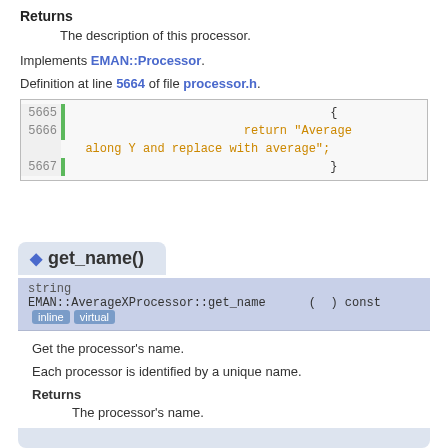Returns
The description of this processor.
Implements EMAN::Processor.
Definition at line 5664 of file processor.h.
[Figure (screenshot): Code block showing lines 5665-5667 with return statement returning 'Average along Y and replace with average']
get_name()
string
EMAN::AverageXProcessor::get_name ( ) const   inline virtual
Get the processor's name.
Each processor is identified by a unique name.
Returns
The processor's name.